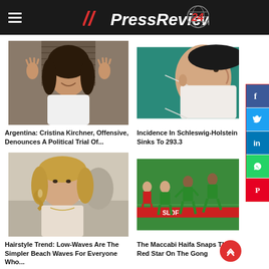// PressReview 24
[Figure (photo): Woman with dark curly hair waving both hands, smiling, wearing a white blouse]
Argentina: Cristina Kirchner, Offensive, Denounces A Political Trial Of...
[Figure (photo): Close-up side profile of a person's face with a face mask, teal background]
Incidence In Schleswig-Holstein Sinks To 293.3
[Figure (photo): Blonde woman in elegant attire at outdoor event]
Hairstyle Trend: Low-Waves Are The Simpler Beach Waves For Everyone Who...
[Figure (photo): Soccer players in green uniforms running on a pitch during a match]
The Maccabi Haifa Snaps The Red Star On The Gong